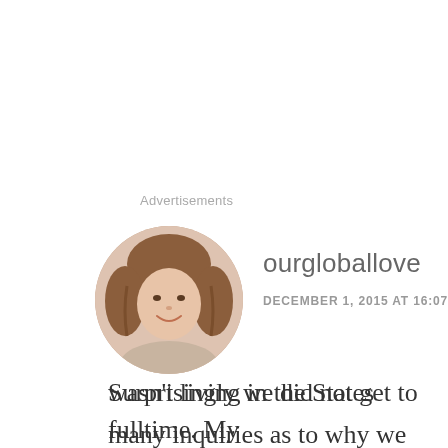Advertisements
[Figure (photo): Circular avatar photo of a young woman smiling, with light background]
ourgloballove
DECEMBER 1, 2015 AT 16:07
Surprisingly we did not get to many inquiries as to why we didn't have
Privacy & Cookies: This site uses cookies. By continuing to use this website, you agree to their use.
To find out more, including how to control cookies, see here: Cookie Policy
Close and accept
wasn't living in the States fulltime. My